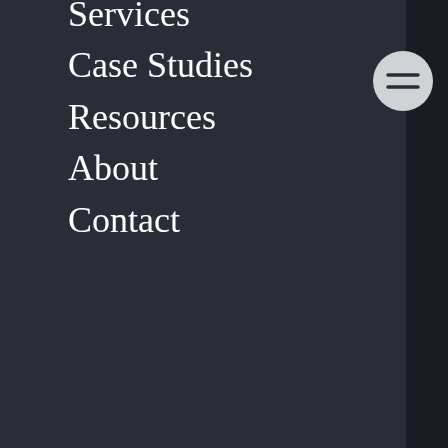Services
Case Studies
Resources
About
Contact
[Figure (illustration): Circular menu/hamburger icon button with light gray background and two horizontal dark lines]
Insights & Ideation
Design & Development
Brand Asset Management
Tangents
Explore
Reading List
Guidebooks
Work With Us